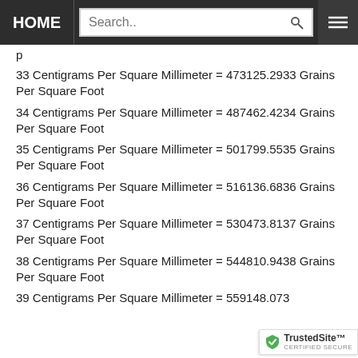HOME | Search..
33 Centigrams Per Square Millimeter = 473125.2933 Grains Per Square Foot
34 Centigrams Per Square Millimeter = 487462.4234 Grains Per Square Foot
35 Centigrams Per Square Millimeter = 501799.5535 Grains Per Square Foot
36 Centigrams Per Square Millimeter = 516136.6836 Grains Per Square Foot
37 Centigrams Per Square Millimeter = 530473.8137 Grains Per Square Foot
38 Centigrams Per Square Millimeter = 544810.9438 Grains Per Square Foot
39 Centigrams Per Square Millimeter = 559148.073...